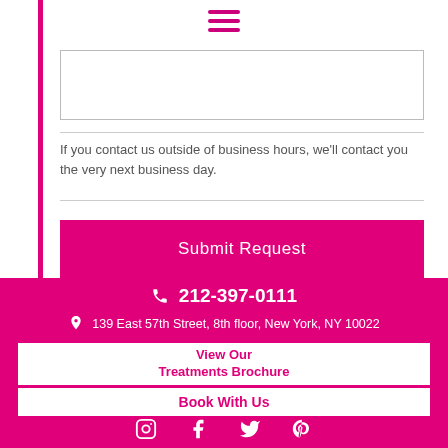[Figure (other): Hamburger menu icon (three horizontal lines) in magenta/pink color]
If you contact us outside of business hours, we'll contact you the very next business day.
Submit Request
212-397-0111
139 East 57th Street, 8th floor, New York, NY 10022
View Our Treatments Brochure
Book With Us
[Figure (other): Social media icons row: Instagram, Facebook, Twitter, Pinterest — all in white on magenta background]